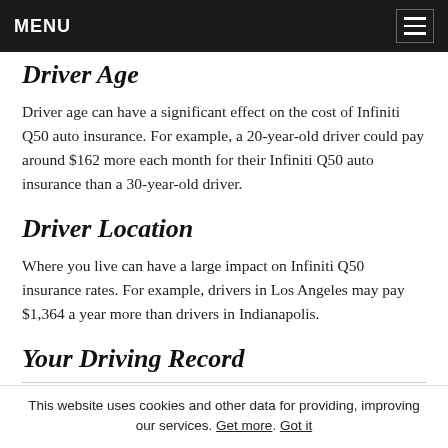MENU
Driver Age
Driver age can have a significant effect on the cost of Infiniti Q50 auto insurance. For example, a 20-year-old driver could pay around $162 more each month for their Infiniti Q50 auto insurance than a 30-year-old driver.
Driver Location
Where you live can have a large impact on Infiniti Q50 insurance rates. For example, drivers in Los Angeles may pay $1,364 a year more than drivers in Indianapolis.
Your Driving Record
This website uses cookies and other data for providing, improving our services. Get more. Got it